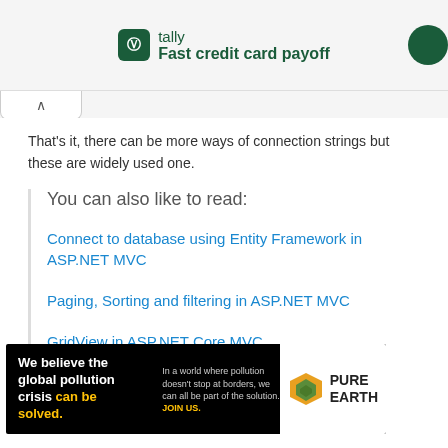[Figure (logo): Tally app advertisement banner with logo and text 'Fast credit card payoff']
That's it, there can be more ways of connection strings but these are widely used one.
You can also like to read:
Connect to database using Entity Framework in ASP.NET MVC
Paging, Sorting and filtering in ASP.NET MVC
GridView in ASP.NET Core MVC
[Figure (infographic): Pure Earth advertisement: 'We believe the global pollution crisis can be solved. In a world where pollution doesn't stop at borders, we can all be part of the solution. JOIN US.']